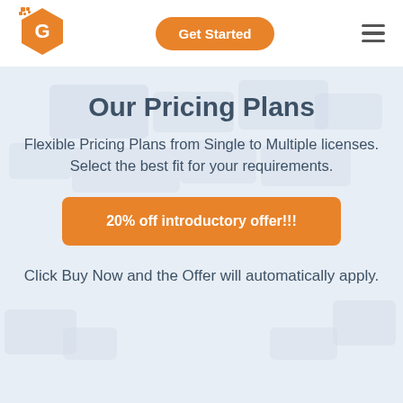[Figure (logo): Orange hexagon logo with letter G and pixel/dot decoration]
Get Started
Our Pricing Plans
Flexible Pricing Plans from Single to Multiple licenses. Select the best fit for your requirements.
20% off introductory offer!!!
Click Buy Now and the Offer will automatically apply.